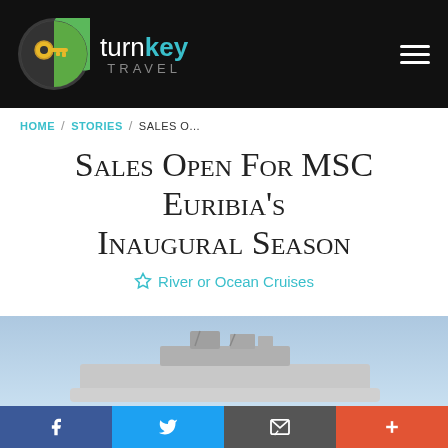turnkey TRAVEL
HOME / STORIES / SALES O...
Sales Open For MSC Euribia's Inaugural Season
River or Ocean Cruises
[Figure (photo): MSC Euribia cruise ship against a blue sky]
Facebook | Twitter | Email | More